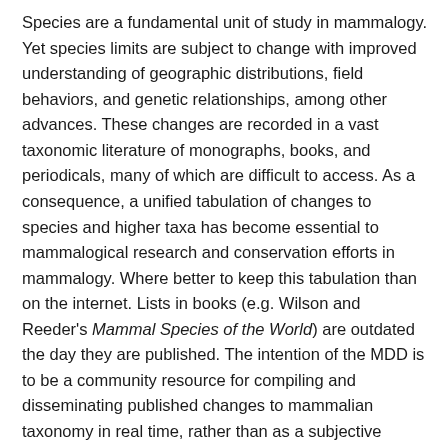Species are a fundamental unit of study in mammalogy. Yet species limits are subject to change with improved understanding of geographic distributions, field behaviors, and genetic relationships, among other advances. These changes are recorded in a vast taxonomic literature of monographs, books, and periodicals, many of which are difficult to access. As a consequence, a unified tabulation of changes to species and higher taxa has become essential to mammalogical research and conservation efforts in mammalogy. Where better to keep this tabulation than on the internet. Lists in books (e.g. Wilson and Reeder's Mammal Species of the World) are outdated the day they are published. The intention of the MDD is to be a community resource for compiling and disseminating published changes to mammalian taxonomy in real time, rather than as a subjective arbiter for the relative strength of revisionary evidence, and hence defer to the peer-reviewed literature for such debates.
A scientific article about the changes in mammalian taxonomy that have occurred over the last 13 years and evaluate the distribution of species diversity and new species descriptions across both